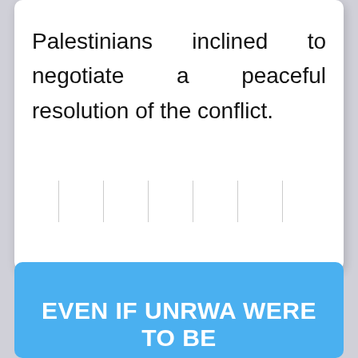Palestinians inclined to negotiate a peaceful resolution of the conflict.
EVEN IF UNRWA WERE TO BE